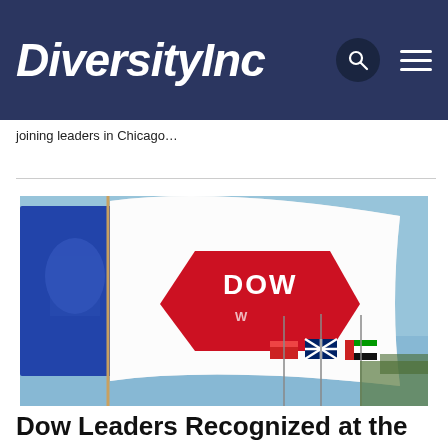DiversityInc
joining leaders in Chicago…
[Figure (photo): A white Dow flag with red diamond logo flying in the wind, alongside the Michigan state flag and other international flags against a blue sky background.]
Dow Leaders Recognized at the